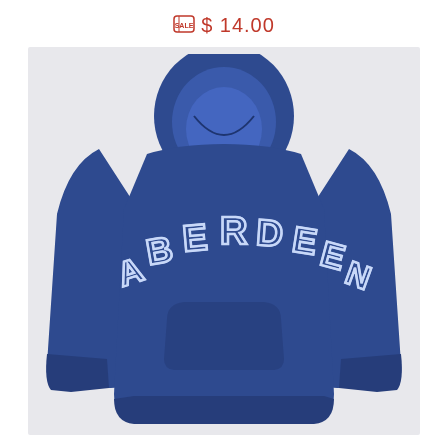$ 14.00
[Figure (photo): Navy blue Aberdeen hoodie sweatshirt shown from the back, featuring arched collegiate-style text 'ABERDEEN' in light blue outline letters on the back. The hoodie has a large kangaroo pocket and drawstring hood.]